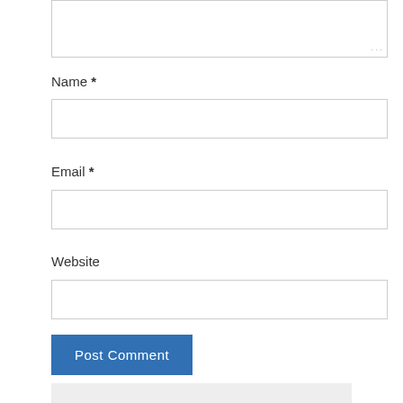[Figure (screenshot): Partial textarea input box at top of page with resize handle dots visible at bottom-right corner]
Name *
[Figure (screenshot): Empty text input field for Name]
Email *
[Figure (screenshot): Empty text input field for Email]
Website
[Figure (screenshot): Empty text input field for Website]
[Figure (screenshot): Blue 'Post Comment' submit button]
[Figure (screenshot): Light gray footer bar at bottom of page]